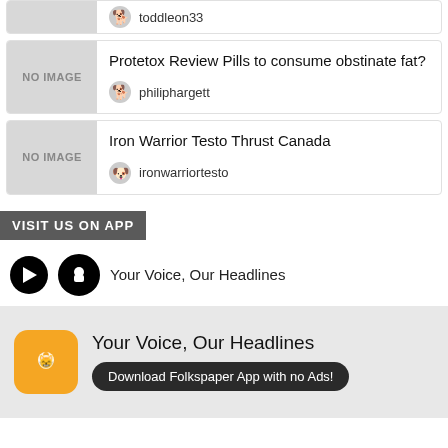toddleon33
Protetox Review Pills to consume obstinate fat? — philiphargett
Iron Warrior Testo Thrust Canada — ironwarriortesto
VISIT US ON APP
Your Voice, Our Headlines
Your Voice, Our Headlines — Download Folkspaper App with no Ads!